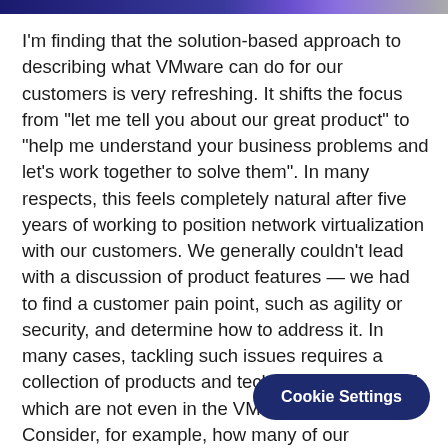I'm finding that the solution-based approach to describing what VMware can do for our customers is very refreshing. It shifts the focus from "let me tell you about our great product" to "help me understand your business problems and let's work together to solve them". In many respects, this feels completely natural after five years of working to position network virtualization with our customers. We generally couldn't lead with a discussion of product features — we had to find a customer pain point, such as agility or security, and determine how to address it. In many cases, tackling such issues requires a collection of products and technologies, some of which are not even in the VMware portfolio. Consider, for example, how many of our discussions with customers today are about empowering their developers to be more productive. Such discussions often turn to b... adoption of Pivotal Cloud Found...
Cookie Settings